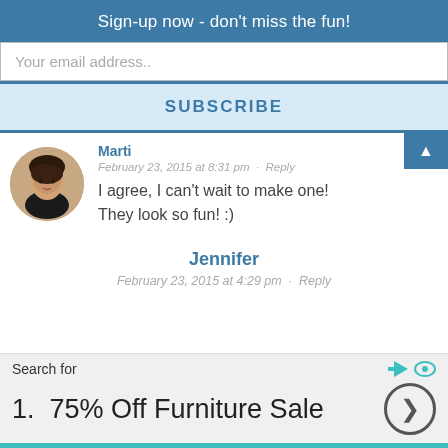Sign-up now - don't miss the fun!
Your email address..
SUBSCRIBE
Marti
February 23, 2015 at 8:31 pm · Reply
I agree, I can't wait to make one! They look so fun! :)
Jennifer
February 23, 2015 at 4:29 pm · Reply
Search for
1.  75% Off Furniture Sale